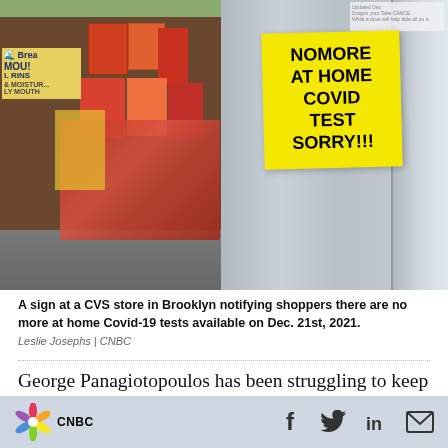[Figure (photo): A CVS store interior showing shelves with products on the left side, and on the right a yellow sign posted on a glass door reading 'NO MORE AT HOME COVID TEST SORRY!!!']
A sign at a CVS store in Brooklyn notifying shoppers there are no more at home Covid-19 tests available on Dec. 21st, 2021.
Leslie Josephs | CNBC
George Panagiotopoulos has been struggling to keep at-home Covid-19 tests in stock at Broadway Chemists pharmacy in New York City
[Figure (logo): CNBC logo with NBC peacock icon and social media icons for Facebook, Twitter, LinkedIn, and Email]